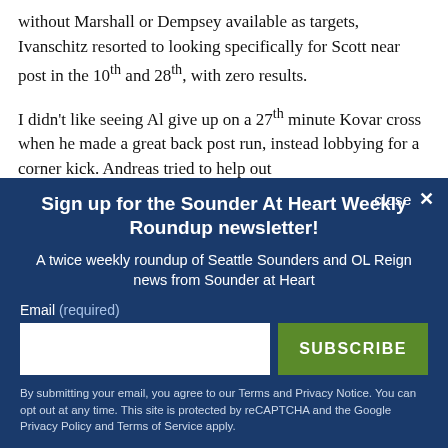without Marshall or Dempsey available as targets, Ivanschitz resorted to looking specifically for Scott near post in the 10th and 28th, with zero results.
I didn't like seeing Al give up on a 27th minute Kovar cross when he made a great back post run, instead lobbying for a corner kick. Andreas tried to help out
close ✕
Sign up for the Sounder At Heart Weekly Roundup newsletter!
A twice weekly roundup of Seattle Sounders and OL Reign news from Sounder at Heart
Email (required)
SUBSCRIBE
By submitting your email, you agree to our Terms and Privacy Notice. You can opt out at any time. This site is protected by reCAPTCHA and the Google Privacy Policy and Terms of Service apply.